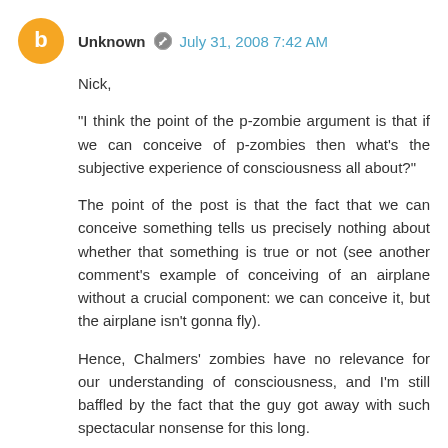Unknown · July 31, 2008 7:42 AM
Nick,

"I think the point of the p-zombie argument is that if we can conceive of p-zombies then what's the subjective experience of consciousness all about?"

The point of the post is that the fact that we can conceive something tells us precisely nothing about whether that something is true or not (see another comment's example of conceiving of an airplane without a crucial component: we can conceive it, but the airplane isn't gonna fly).

Hence, Chalmers' zombies have no relevance for our understanding of consciousness, and I'm still baffled by the fact that the guy got away with such spectacular nonsense for this long.
Reply